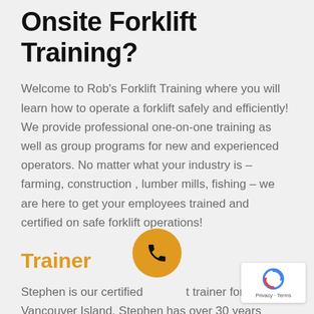Onsite Forklift Training?
Welcome to Rob's Forklift Training where you will learn how to operate a forklift safely and efficiently! We provide professional one-on-one training as well as group programs for new and experienced operators. No matter what your industry is – farming, construction , lumber mills, fishing – we are here to get your employees trained and certified on safe forklift operations!
Trainer
Stephen is our certified forklift trainer for Vancouver Island. Stephen has over 30 years
[Figure (other): Orange circular phone call button overlay]
[Figure (logo): Google reCAPTCHA Privacy - Terms badge]